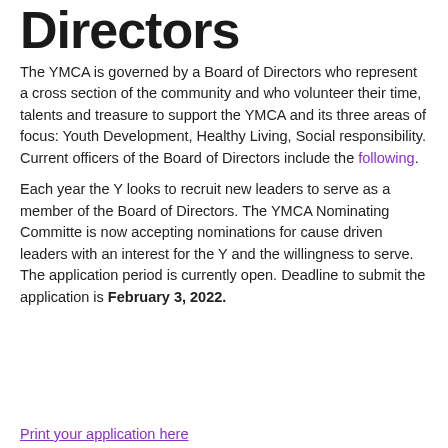Directors
The YMCA is governed by a Board of Directors who represent a cross section of the community and who volunteer their time, talents and treasure to support the YMCA and its three areas of focus: Youth Development, Healthy Living, Social responsibility. Current officers of the Board of Directors include the following.
Each year the Y looks to recruit new leaders to serve as a member of the Board of Directors. The YMCA Nominating Committe is now accepting nominations for cause driven leaders with an interest for the Y and the willingness to serve. The application period is currently open. Deadline to submit the application is February 3, 2022.
Print your application here